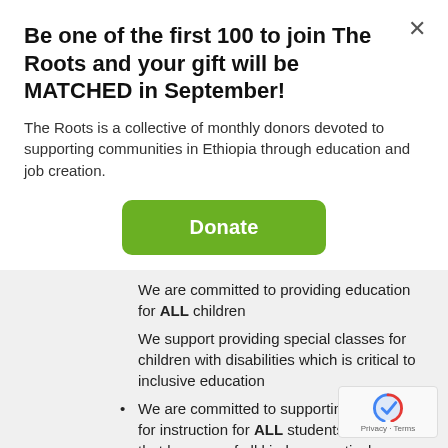Be one of the first 100 to join The Roots and your gift will be MATCHED in September!
The Roots is a collective of monthly donors devoted to supporting communities in Ethiopia through education and job creation.
[Figure (other): Green Donate button]
We are committed to providing education for ALL children
We support providing special classes for children with disabilities which is critical to inclusive education
We are committed to supporting teachers for instruction for ALL students to learn so that learners of all kinds can actively participate in school and in society.